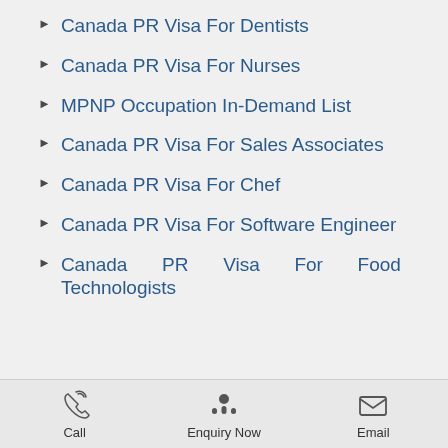Canada PR Visa For Dentists
Canada PR Visa For Nurses
MPNP Occupation In-Demand List
Canada PR Visa For Sales Associates
Canada PR Visa For Chef
Canada PR Visa For Software Engineer
Canada PR Visa For Food Technologists
Call   Enquiry Now   Email